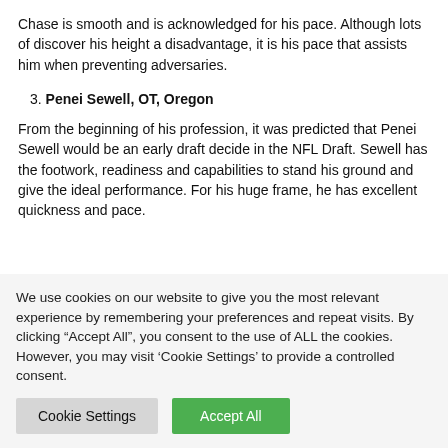Chase is smooth and is acknowledged for his pace. Although lots of discover his height a disadvantage, it is his pace that assists him when preventing adversaries.
3. Penei Sewell, OT, Oregon
From the beginning of his profession, it was predicted that Penei Sewell would be an early draft decide in the NFL Draft. Sewell has the footwork, readiness and capabilities to stand his ground and give the ideal performance. For his huge frame, he has excellent quickness and pace.
We use cookies on our website to give you the most relevant experience by remembering your preferences and repeat visits. By clicking “Accept All”, you consent to the use of ALL the cookies. However, you may visit 'Cookie Settings' to provide a controlled consent.